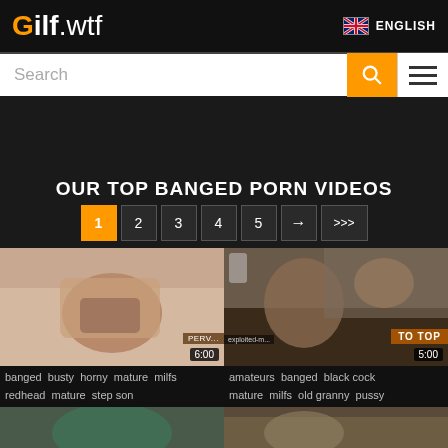Gilf.wtf — ENGLISH
Search
OUR TOP BANGED PORN VIDEOS
1 2 3 4 5 → >>>
[Figure (screenshot): Video thumbnail 1 showing woman on phone, duration 6:00]
banged busty horny mature milfs redhead mature step son
[Figure (screenshot): Video thumbnail 2 showing couple on bed with TO TOP badge, duration 5:00]
amateurs banged black cock mature milfs old granny pussy
[Figure (screenshot): Partial video thumbnail bottom left]
[Figure (screenshot): Partial video thumbnail bottom right]